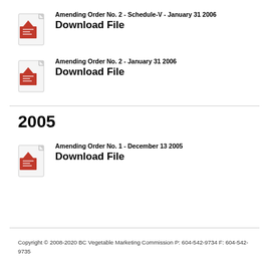Amending Order No. 2 - Schedule-V - January 31 2006
Download File
Amending Order No. 2 - January 31 2006
Download File
2005
Amending Order No. 1 - December 13 2005
Download File
Copyright © 2008-2020 BC Vegetable Marketing Commission P: 604-542-9734  F: 604-542-9735